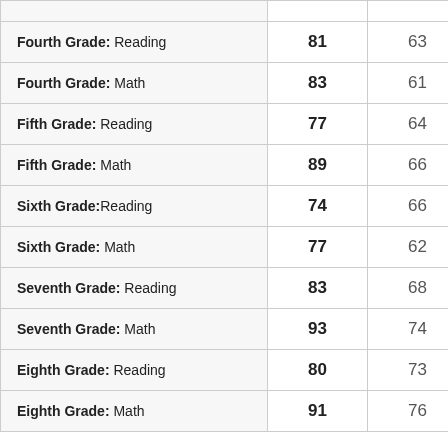|  |  |  |
| --- | --- | --- |
| Fourth Grade: Reading | 81 | 63 |
| Fourth Grade: Math | 83 | 61 |
| Fifth Grade: Reading | 77 | 64 |
| Fifth Grade: Math | 89 | 66 |
| Sixth Grade:Reading | 74 | 66 |
| Sixth Grade: Math | 77 | 62 |
| Seventh Grade: Reading | 83 | 68 |
| Seventh Grade: Math | 93 | 74 |
| Eighth Grade: Reading | 80 | 73 |
| Eighth Grade: Math | 91 | 76 |